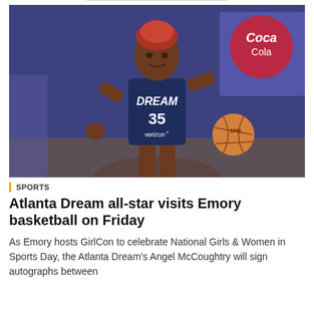[Figure (photo): Angel McCoughtry, Atlanta Dream WNBA player wearing navy blue Dream #35 Verizon jersey, dribbling a basketball. Her hair is red/auburn. Background shows a blurred arena with a Coca-Cola sign.]
SPORTS
Atlanta Dream all-star visits Emory basketball on Friday
As Emory hosts GirlCon to celebrate National Girls & Women in Sports Day, the Atlanta Dream's Angel McCoughtry will sign autographs between